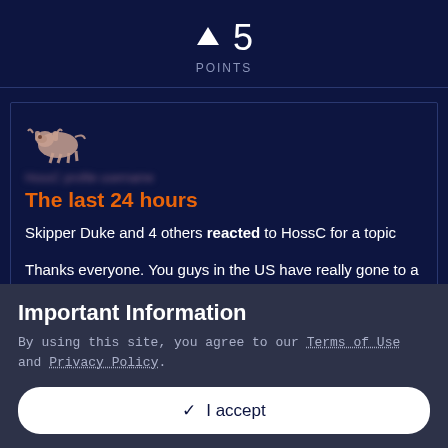[Figure (infographic): Dark navy panel showing an upward arrow icon followed by the number 5 and the label POINTS below, indicating a score or vote count.]
[Figure (infographic): Dark navy card with a small pixel-art bull icon, a blurred username, orange heading 'The last 24 hours', notification text about Skipper Duke and 4 others reacting, and a thank-you message about birthday trouble.]
Important Information
By using this site, you agree to our Terms of Use and Privacy Policy.
✓ I accept